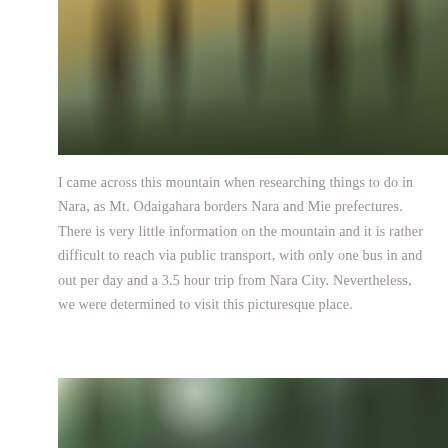[Figure (photo): A hiker with a backpack standing on a forest trail surrounded by autumn trees with yellow and orange foliage and green undergrowth]
I came across this mountain when researching things to do in Nara, as Mt. Odaigahara borders Nara and Mie prefectures. There is very little information on the mountain and it is rather difficult to reach via public transport, with only one bus in and out per day and a 3.5 hour trip from Nara City. Nevertheless, we were determined to visit this picturesque place.
[Figure (photo): Looking up through tall evergreen trees with sunlight filtering through the branches in a misty forest]